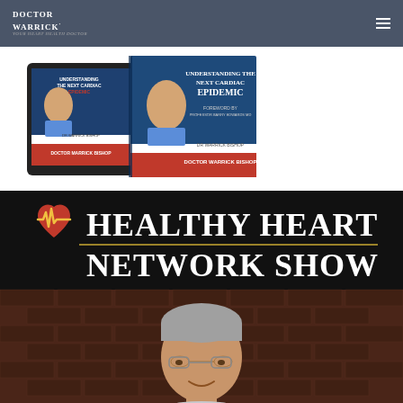Doctor Warrick
[Figure (photo): Book covers for Doctor Warrick Bishop's book about understanding the next cardiac epidemic, shown as tablet and physical book]
[Figure (logo): Healthy Heart Network Show logo with red heart and gold EKG line, white serif text on black background, with photo of male presenter below]